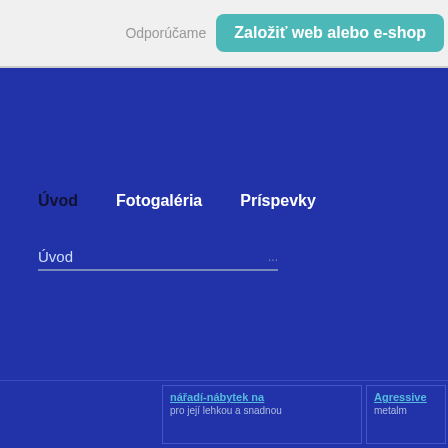Odporúčame  Založiť web alebo e-shop
Úvod   Fotogaléria   Príspevky
Úvod
nářadí-nábytek na   Agressive
pro její lehkou a snadnou   metalm